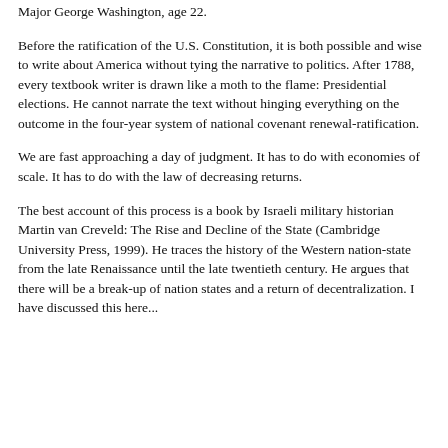Major George Washington, age 22.
Before the ratification of the U.S. Constitution, it is both possible and wise to write about America without tying the narrative to politics. After 1788, every textbook writer is drawn like a moth to the flame: Presidential elections. He cannot narrate the text without hinging everything on the outcome in the four-year system of national covenant renewal-ratification.
We are fast approaching a day of judgment. It has to do with economies of scale. It has to do with the law of decreasing returns.
The best account of this process is a book by Israeli military historian Martin van Creveld: The Rise and Decline of the State (Cambridge University Press, 1999). He traces the history of the Western nation-state from the late Renaissance until the late twentieth century. He argues that there will be a break-up of nation states and a return of decentralization. I have discussed this here...